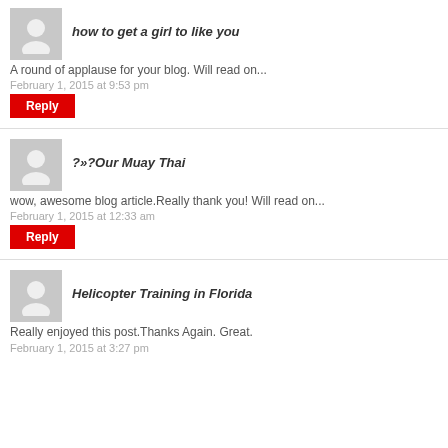[Figure (illustration): Gray avatar placeholder icon for first commenter]
how to get a girl to like you
A round of applause for your blog. Will read on...
February 1, 2015 at 9:53 pm
Reply
[Figure (illustration): Gray avatar placeholder icon for second commenter]
?»?Our Muay Thai
wow, awesome blog article.Really thank you! Will read on...
February 1, 2015 at 12:33 am
Reply
[Figure (illustration): Gray avatar placeholder icon for third commenter]
Helicopter Training in Florida
Really enjoyed this post.Thanks Again. Great.
February 1, 2015 at 3:27 pm